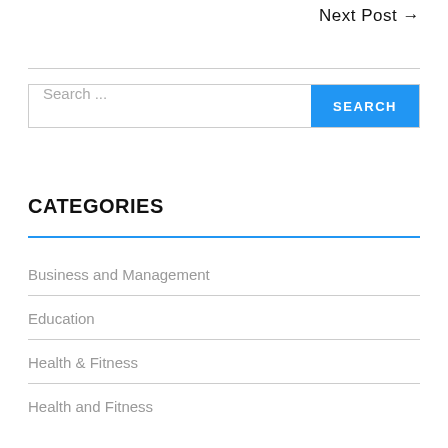Next Post →
Search ...
CATEGORIES
Business and Management
Education
Health & Fitness
Health and Fitness